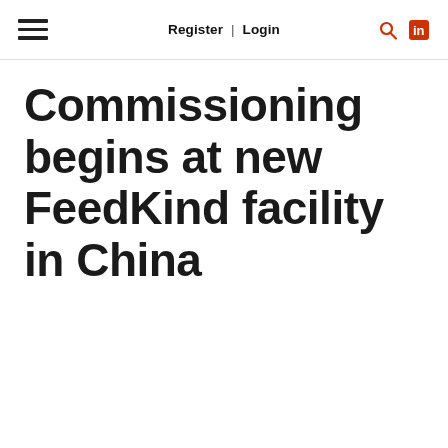Register | Login
Commissioning begins at new FeedKind facility in China